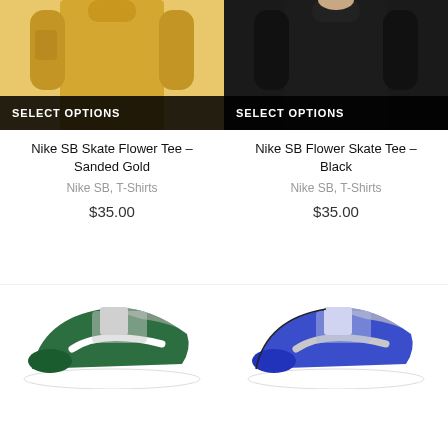[Figure (photo): Nike SB Skate Flower Tee in Sanded Gold color, product listing card with SELECT OPTIONS button overlay]
Nike SB Skate Flower Tee – Sanded Gold
Nike SB, T-Shirts
$35.00
[Figure (photo): Nike SB Flower Skate Tee in Black color, product listing card with SELECT OPTIONS button overlay]
Nike SB Flower Skate Tee – Black
Nike SB, T-Shirts
$35.00
[Figure (photo): Nike SB shoe in green and white colorway, product listing card]
[Figure (photo): Nike SB shoe in blue and grey colorway, product listing card]